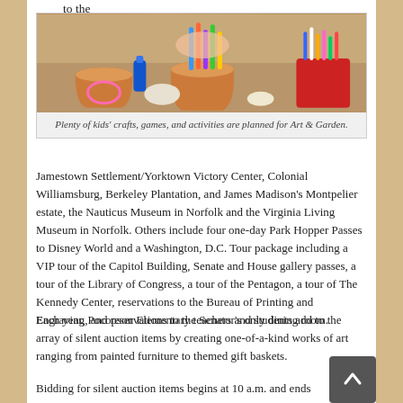to the
[Figure (photo): Children doing arts and crafts at a table with flower pots, markers, and craft supplies.]
Plenty of kids' crafts, games, and activities are planned for Art & Garden.
Jamestown Settlement/Yorktown Victory Center, Colonial Williamsburg, Berkeley Plantation, and James Madison's Montpelier estate, the Nauticus Museum in Norfolk and the Virginia Living Museum in Norfolk. Others include four one-day Park Hopper Passes to Disney World and a Washington, D.C. Tour package including a VIP tour of the Capitol Building, Senate and House gallery passes, a tour of the Library of Congress, a tour of the Pentagon, a tour of The Kennedy Center, reservations to the Bureau of Printing and Engraving, and reservations to the Senator's only dining room.
Each year, Pocopson Elementary teachers and students add to the array of silent auction items by creating one-of-a-kind works of art ranging from painted furniture to themed gift baskets.
Bidding for silent auction items begins at 10 a.m. and ends at 2